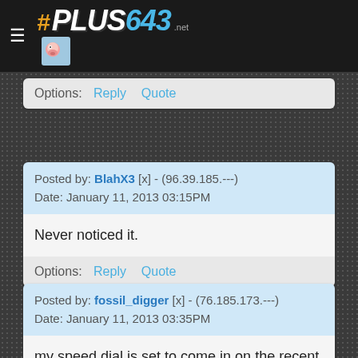#PLUS643 .net
Options: Reply Quote
Posted by: BlahX3 [x] - (96.39.185.---)
Date: January 11, 2013 03:15PM

Never noticed it.

Options: Reply Quote
Posted by: fossil_digger [x] - (76.185.173.---)
Date: January 11, 2013 03:35PM

my speed dial is set to come in on the recent comment page. try that